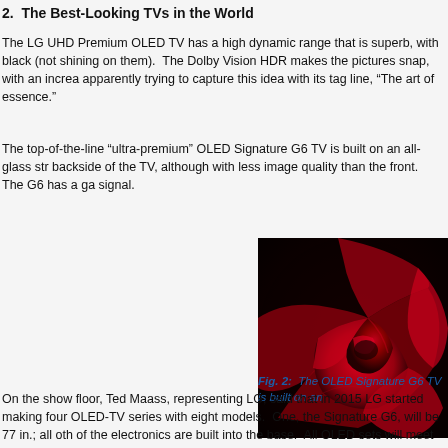2.  The Best-Looking TVs in the World
The LG UHD Premium OLED TV has a high dynamic range that is superb, with black (not shining on them).  The Dolby Vision HDR makes the pictures snap, with an increa apparently trying to capture this idea with its tag line, “The art of essence.”
The top-of-the-line “ultra-premium” OLED Signature G6 TV is built on an all-glass str backside of the TV, although with less image quality than the front.  The G6 has a ga signal.
[Figure (photo): Close-up photo of a red rose on a dark background, showing deep reds and dark shadows, illustrating the OLED display's high dynamic range and color depth.]
Fig. 2:  The OLED Signature G6 TV is built on an
On the show floor, Ted Maass, representing LG, said that in 2015 LG started making four OLED-TV series with eight models.  One, the Signature G6, will be 77 in.; all oth of the electronics are built into the base.  All OLED sets will meet the UHD Premiu